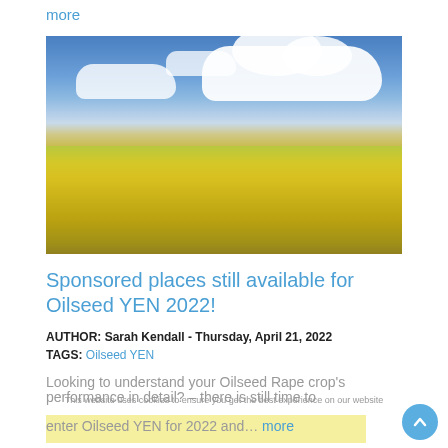more
[Figure (photo): Aerial/ground-level photo of a bright yellow oilseed rape (canola) field in full bloom under a blue sky with white cumulus clouds]
Sponsored places still available for Oilseed YEN 2022!
AUTHOR: Sarah Kendall - Thursday, April 21, 2022
TAGS: Oilseed YEN
Looking to understand your Oilseed Rape crop's performance in detail? – there is still time to enter Oilseed YEN for 2022 and… more
This website uses cookies to ensure you get the best experience on our website